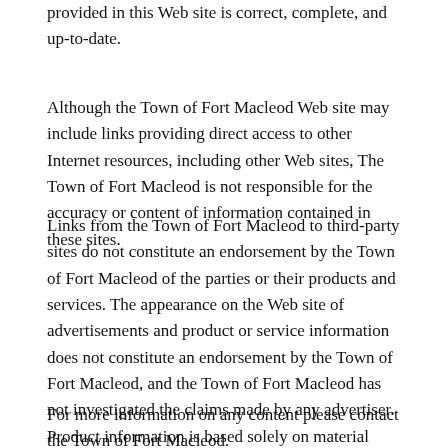provided in this Web site is correct, complete, and up-to-date.
Although the Town of Fort Macleod Web site may include links providing direct access to other Internet resources, including other Web sites, The Town of Fort Macleod is not responsible for the accuracy or content of information contained in these sites.
Links from the Town of Fort Macleod to third-party sites do not constitute an endorsement by the Town of Fort Macleod of the parties or their products and services. The appearance on the Web site of advertisements and product or service information does not constitute an endorsement by the Town of Fort Macleod, and the Town of Fort Macleod has not investigated the claims made by any advertiser. Product information is based solely on material received from suppliers.
For more information on any content please contact the Town of Fort Macleod.